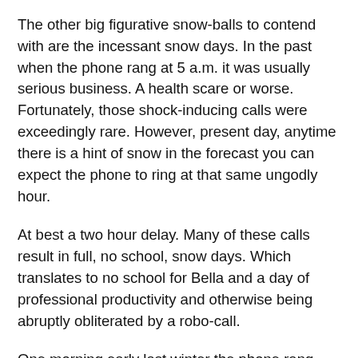The other big figurative snow-balls to contend with are the incessant snow days. In the past when the phone rang at 5 a.m. it was usually serious business. A health scare or worse. Fortunately, those shock-inducing calls were exceedingly rare. However, present day, anytime there is a hint of snow in the forecast you can expect the phone to ring at that same ungodly hour.
At best a two hour delay. Many of these calls result in full, no school, snow days. Which translates to no school for Bella and a day of professional productivity and otherwise being abruptly obliterated by a robo-call.
One morning early last winter the phone rang early and my wife dutifully answered it. I could tell by her